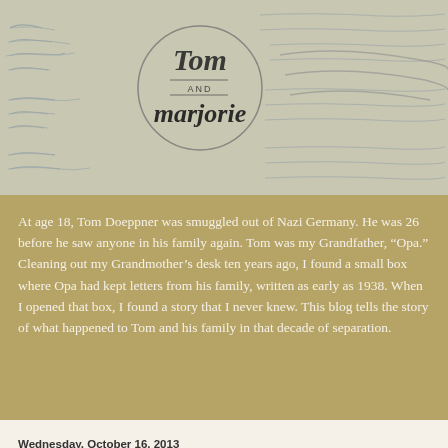[Figure (illustration): Blog header image showing handwritten letters in the background (cursive blue ink on paper) with a circular logo overlay containing the text 'Tom AND marjorie' in stylized calligraphy, and decorative swoosh lines to the right.]
At age 18, Tom Doeppner was smuggled out of Nazi Germany. He was 26 before he saw anyone in his family again. Tom was my Grandfather, “Opa.” Cleaning out my Grandmother’s desk ten years ago, I found a small box where Opa had kept letters from his family, written as early as 1938. When I opened that box, I found a story that I never knew. This blog tells the story of what happened to Tom and his family in that decade of separation.
Wednesday, October 16, 2013
Spotlight: The Halle Family
Hey all...it’s Jason, your friendly neighborhood